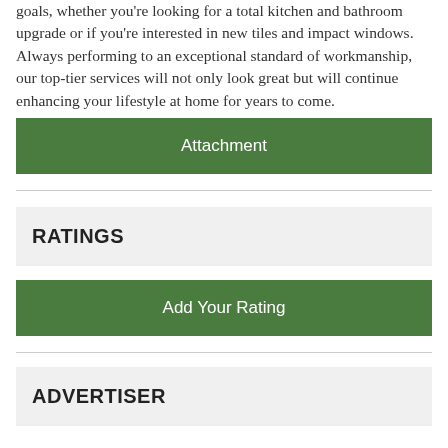goals, whether you're looking for a total kitchen and bathroom upgrade or if you're interested in new tiles and impact windows. Always performing to an exceptional standard of workmanship, our top-tier services will not only look great but will continue enhancing your lifestyle at home for years to come.
Attachment
RATINGS
Add Your Rating
ADVERTISER